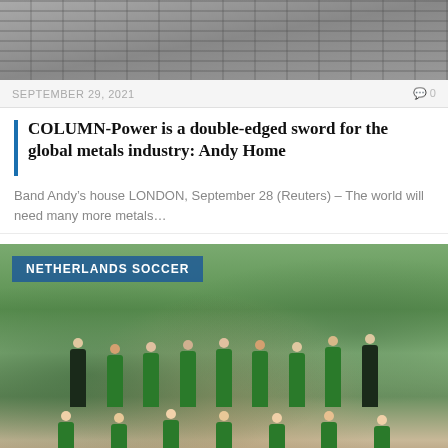[Figure (photo): Top portion of image showing stacked metal bars/ingots in rows, gray metallic industrial material]
SEPTEMBER 29, 2021                                                  0
COLUMN-Power is a double-edged sword for the global metals industry: Andy Home
Band Andy’s house LONDON, September 28 (Reuters) – The world will need many more metals…
[Figure (photo): Group photo of a youth cross country running team wearing green Knights uniforms, posing outdoors. Label says NETHERLANDS SOCCER in top left corner overlay.]